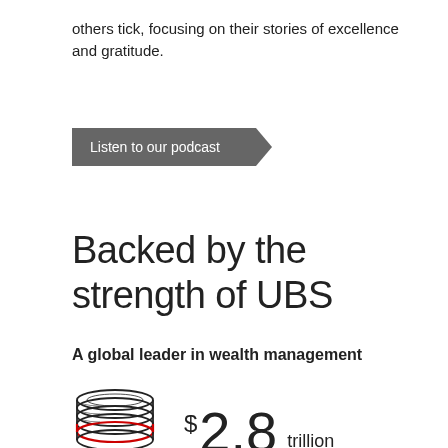others tick, focusing on their stories of excellence and gratitude.
[Figure (other): Dark grey arrow/chevron button shape with white text: 'Listen to our podcast']
Backed by the strength of UBS
A global leader in wealth management
[Figure (infographic): Stack of coins illustration (black outline with red accent at bottom) next to large text '$2.8 trillion']